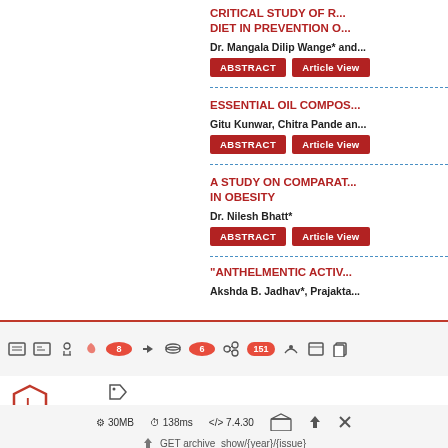CRITICAL STUDY OF R... DIET IN PREVENTION O...
Dr. Mangala Dilip Wange* and...
ESSENTIAL OIL COMPOS...
Gitu Kunwar, Chitra Pande an...
A STUDY ON COMPARAT... IN OBESITY
Dr. Nilesh Bhatt*
"ANTHELMENTIC ACTIV...
Akshda B. Jadhav*, Prajakta...
[Figure (screenshot): Laravel debug toolbar at bottom of browser with icons, badges showing 8, 6, 151, and bottom status bar showing 30MB, 138ms, 7.4.30, GET archive_show/{year}/{issue}]